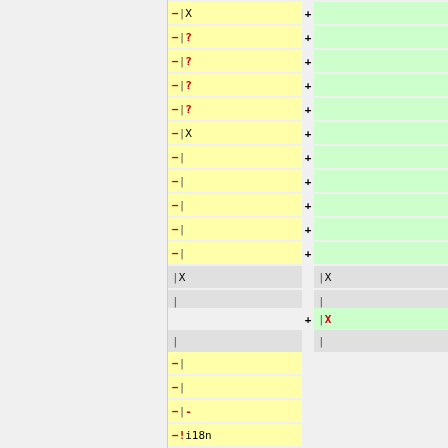[Figure (screenshot): Diff view of code/configuration file showing deleted lines (yellow, left) and added lines (green, right). Rows contain symbols like |X, |?, |-  indicating diff markers. Some rows are gray (unchanged context). Bottom rows show additional deletions with |-  and ! i18n markers.]